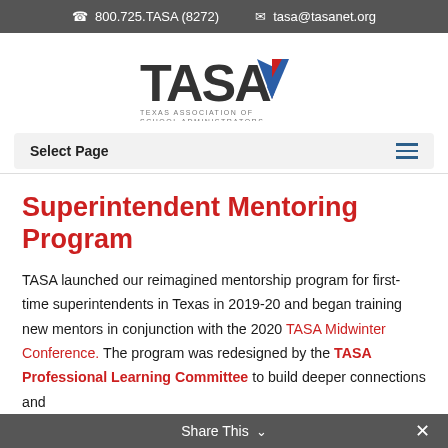800.725.TASA (8272)   tasa@tasanet.org
[Figure (logo): TASA logo — Texas Association of School Administrators wordmark with stylized chevron icon in blue and red]
Select Page
Superintendent Mentoring Program
TASA launched our reimagined mentorship program for first-time superintendents in Texas in 2019-20 and began training new mentors in conjunction with the 2020 TASA Midwinter Conference. The program was redesigned by the TASA Professional Learning Committee to build deeper connections and